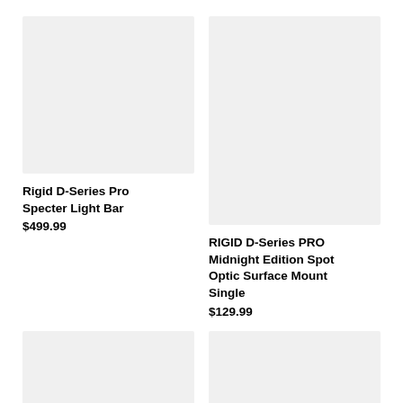[Figure (photo): Product image placeholder for Rigid D-Series Pro Specter Light Bar, light gray rectangle]
[Figure (photo): Product image placeholder for RIGID D-Series PRO Midnight Edition Spot Optic Surface Mount Single, light gray rectangle]
Rigid D-Series Pro Specter Light Bar
$499.99
RIGID D-Series PRO Midnight Edition Spot Optic Surface Mount Single
$129.99
[Figure (photo): Product image placeholder, bottom left, light gray rectangle]
[Figure (photo): Product image placeholder, bottom right, light gray rectangle]